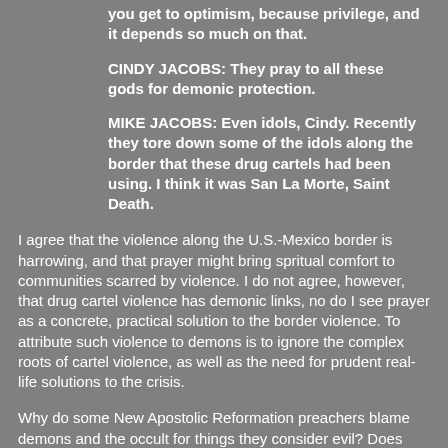you get to optimism, because privilege, and it depends so much on that.
CINDY JACOBS: They pray to all these gods for demonic protection.
MIKE JACOBS: Even idols, Cindy. Recently they tore down some of the idols along the border that these drug cartels had been using. I think it was San La Morte, Saint Death.
I agree that the violence along the U.S.-Mexico border is harrowing, and that prayer might bring spritual comfort to communities scarred by violence. I do not agree, however, that drug cartel violence has demonic links, no do I see prayer as a concrete, practical solution to the border violence. To attribute such violence to demons is to ignore the complex roots of cartel violence, as well as the need for prudent real-life solutions to the crisis.
Why do some New Apostolic Reformation preachers blame demons and the occult for things they consider evil? Does